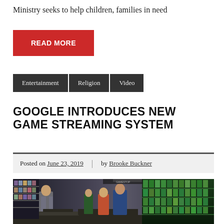Ministry seeks to help children, families in need
READ MORE
Entertainment
Religion
Video
GOOGLE INTRODUCES NEW GAME STREAMING SYSTEM
Posted on June 23, 2019 | by Brooke Buckner
[Figure (photo): Interior of a video game store with customers browsing shelves stocked with games and accessories. People visible include a woman with her back to the camera, and several other shoppers.]